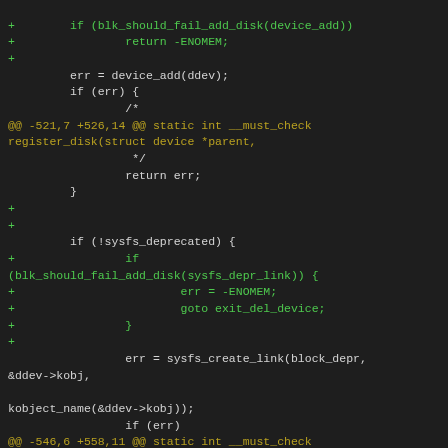[Figure (screenshot): A code diff snippet in a dark-themed editor showing additions to a Linux kernel block device registration function, with green lines for added code and olive/yellow lines for diff context headers.]